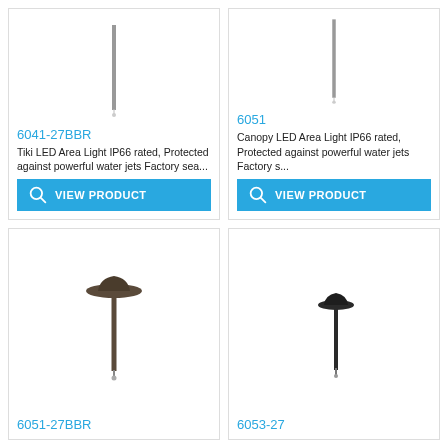[Figure (photo): Tiki LED area light product image - tall thin pole with small top]
6041-27BBR
Tiki LED Area Light IP66 rated, Protected against powerful water jets Factory sea...
VIEW PRODUCT
[Figure (photo): Canopy LED area light product image - tall thin pole with canopy top]
6051
Canopy LED Area Light IP66 rated, Protected against powerful water jets Factory s...
VIEW PRODUCT
[Figure (photo): Area light product image - tall pole with wide mushroom/hat shade, dark bronze]
6051-27BBR
[Figure (photo): Area light product image - shorter pole with smaller dome shade, dark]
6053-27